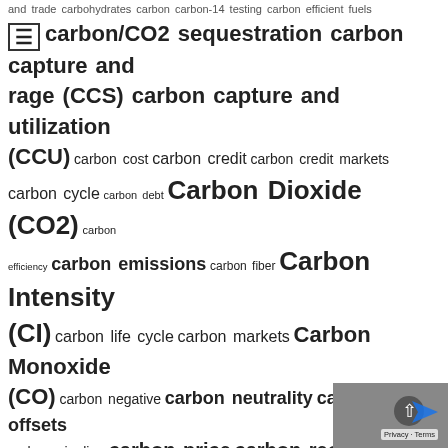and trade carbohydrates carbon carbon-14 testing carbon efficient fuels carbon/CO2 sequestration carbon capture and storage (CCS) carbon capture and utilization (CCU) carbon cost carbon credit carbon credit markets carbon cycle carbon debt Carbon Dioxide (CO2) carbon efficiency carbon emissions carbon fiber Carbon Intensity (CI) carbon life cycle carbon markets Carbon Monoxide (CO) carbon negative carbon neutrality carbon offsets carbon pipeline carbon price carbon recycling carbon removal carbon sink carbon tax carbon tax-and-dividend Carbon tax border adjustments carbon user fee Carbon Utilization and Biogas Education Program carcinogens cardoon Caribbean carinata/brassica carinata carob cashew cashew apple CASI CAS Registry Cassava cassava price cassava pulp cassava stalk castor bean castor stalk catalysis catalysts catalytic decarboxylation catalytic hydrothermal conversion catalytic hydrothermal conversion-to-jet (CHCJ) catalytic hydrothermal gasification catalytic hydrothermolysis jet CHJ pathway cattle cavitation CBD (cannabidiol) CBG (compressed biogas) cell culturing cellulase enzymes cellulose Cellulosic/Biomass Hydrogen cellulosic biofuel Cellulosic biomass cellulosic diesel Cellulosic ethanol cellulosic ethanol price cellulosic feedstock cellulosic production tax credit cellulosic sugars